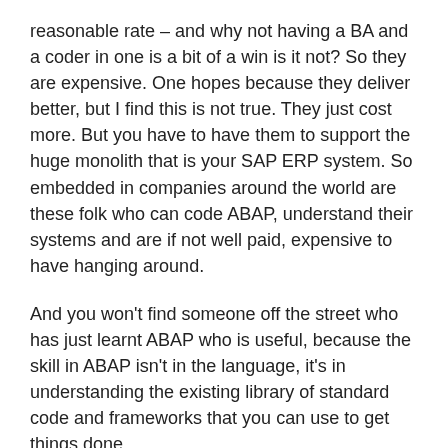reasonable rate – and why not having a BA and a coder in one is a bit of a win is it not? So they are expensive. One hopes because they deliver better, but I find this is not true. They just cost more. But you have to have them to support the huge monolith that is your SAP ERP system. So embedded in companies around the world are these folk who can code ABAP, understand their systems and are if not well paid, expensive to have hanging around.
And you won't find someone off the street who has just learnt ABAP who is useful, because the skill in ABAP isn't in the language, it's in understanding the existing library of standard code and frameworks that you can use to get things done.
FFS the language still doesn't have the concept of a Boolean!
The requirement for ABAP support is one of the reasons that SAP costs a decent amount to run. In the future as we move